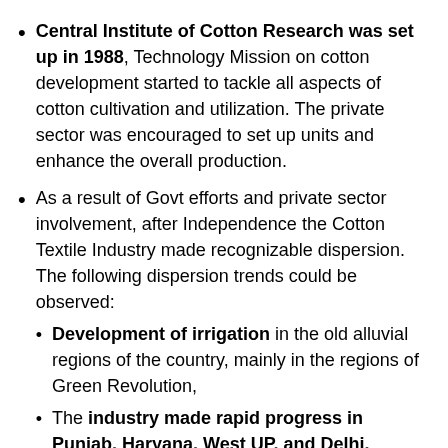Central Institute of Cotton Research was set up in 1988, Technology Mission on cotton development started to tackle all aspects of cotton cultivation and utilization. The private sector was encouraged to set up units and enhance the overall production.
As a result of Govt efforts and private sector involvement, after Independence the Cotton Textile Industry made recognizable dispersion. The following dispersion trends could be observed:
Development of irrigation in the old alluvial regions of the country, mainly in the regions of Green Revolution,
The industry made rapid progress in Punjab, Haryana, West UP, and Delhi. Jalandhar, Ludhiana, Pathankot, Amritsar in Punjab, Ambala, and Faridabad in